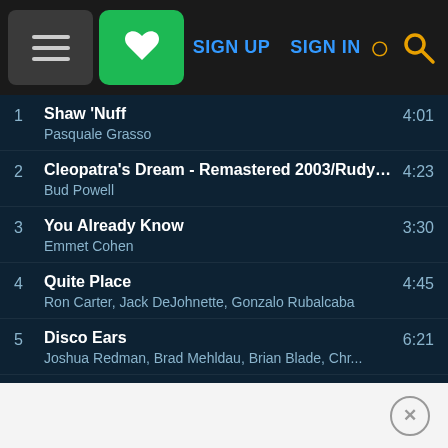[Figure (screenshot): Top navigation bar with menu icon, green heart/favorites button, SIGN UP and SIGN IN links in blue, and a yellow search icon on dark background]
1  Shaw 'Nuff  4:01
Pasquale Grasso
2  Cleopatra's Dream - Remastered 2003/Rudy Va...  4:23
Bud Powell
3  You Already Know  3:30
Emmet Cohen
4  Quite Place  4:45
Ron Carter, Jack DeJohnette, Gonzalo Rubalcaba
5  Disco Ears  6:21
Joshua Redman, Brad Mehldau, Brian Blade, Chr...
6  Summer Rising  5:56
Joey Alexander
7  Emlilweni  6:33